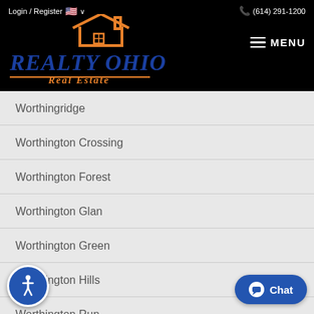Login / Register  🇺🇸 ∨   (614) 291-1200
[Figure (logo): Realty Ohio Real Estate logo with orange house outline and blue bold text]
Worthingridge
Worthington Crossing
Worthington Forest
Worthington Glan
Worthington Green
Worthington Hills
Worthington Run
Worthington Trace